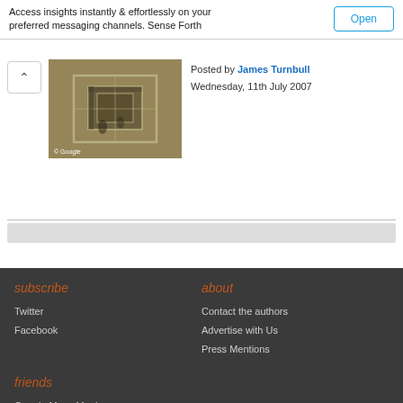Access insights instantly & effortlessly on your preferred messaging channels. Sense Forth
[Figure (photo): Aerial/satellite image of a structure, with Google watermark in bottom left corner]
Posted by James Turnbull
Wednesday, 11th July 2007
subscribe
Twitter
Facebook
about
Contact the authors
Advertise with Us
Press Mentions
friends
Google Maps Mania
GEarth Blog
Virtual Globetrotting